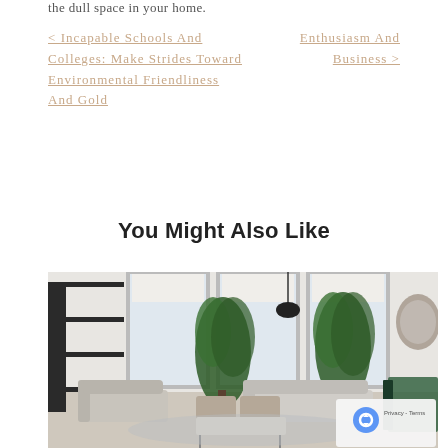the dull space in your home.
< Incapable Schools And Colleges: Make Strides Toward Environmental Friendliness And Gold
Enthusiasm And Business >
You Might Also Like
[Figure (photo): Interior photo of a modern bright living room with large windows, indoor plants, grey sofas and armchairs, coffee table, and dark shelving unit on the left side.]